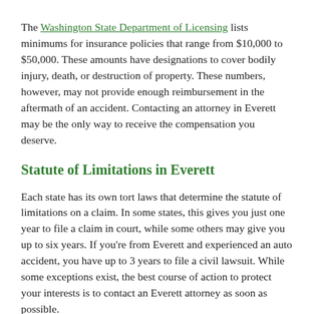The Washington State Department of Licensing lists minimums for insurance policies that range from $10,000 to $50,000. These amounts have designations to cover bodily injury, death, or destruction of property. These numbers, however, may not provide enough reimbursement in the aftermath of an accident. Contacting an attorney in Everett may be the only way to receive the compensation you deserve.
Statute of Limitations in Everett
Each state has its own tort laws that determine the statute of limitations on a claim. In some states, this gives you just one year to file a claim in court, while some others may give you up to six years. If you're from Everett and experienced an auto accident, you have up to 3 years to file a civil lawsuit. While some exceptions exist, the best course of action to protect your interests is to contact an Everett attorney as soon as possible.